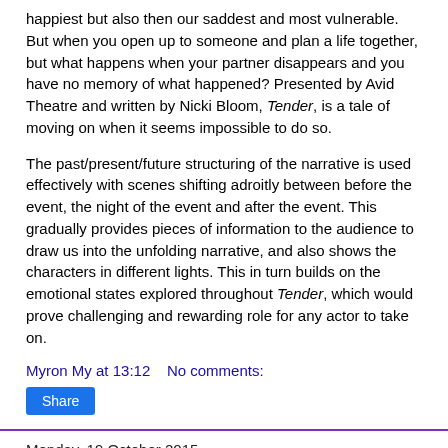happiest but also then our saddest and most vulnerable. But when you open up to someone and plan a life together, but what happens when your partner disappears and you have no memory of what happened? Presented by Avid Theatre and written by Nicki Bloom, Tender, is a tale of moving on when it seems impossible to do so.
The past/present/future structuring of the narrative is used effectively with scenes shifting adroitly between before the event, the night of the event and after the event. This gradually provides pieces of information to the audience to draw us into the unfolding narrative, and also shows the characters in different lights. This in turn builds on the emotional states explored throughout Tender, which would prove challenging and rewarding role for any actor to take on.
Myron My at 13:12    No comments:
Share
Monday, 19 October 2015
Us review
[Figure (photo): Dark photo at bottom of page]